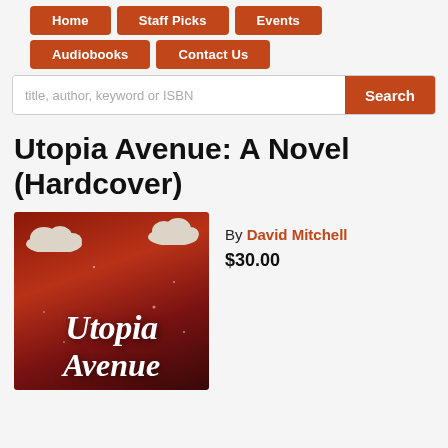Home | Staff Picks | Events | Audiobooks | Contact Us
title, author, keyword or ISBN
Utopia Avenue: A Novel (Hardcover)
[Figure (photo): Book cover for Utopia Avenue by David Mitchell — dark red/maroon background with clouds and stylized white italic text reading 'Utopia Avenue']
By David Mitchell
$30.00